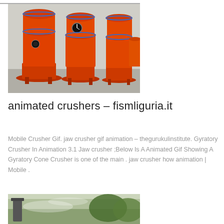[Figure (photo): Multiple large orange industrial cone crushers lined up outdoors on a concrete surface]
animated crushers – fismliguria.it
Mobile Crusher Gif. jaw crusher gif animation – thegurukulinstitute. Gyratory Crusher In Animation 3.1 Jaw crusher ;Below Is A Animated Gif Showing A Gyratory Cone Crusher is one of the main . jaw crusher how animation | Mobile .
[Figure (photo): Outdoor scene with trees and mist or dust, showing industrial machinery in background]